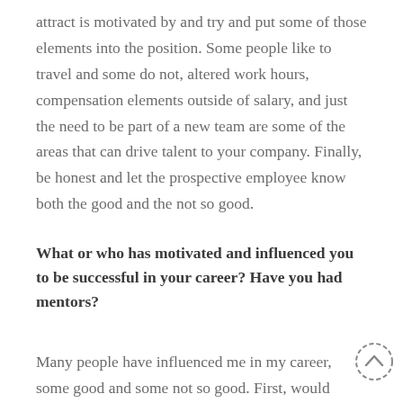attract is motivated by and try and put some of those elements into the position. Some people like to travel and some do not, altered work hours, compensation elements outside of salary, and just the need to be part of a new team are some of the areas that can drive talent to your company. Finally, be honest and let the prospective employee know both the good and the not so good.
What or who has motivated and influenced you to be successful in your career? Have you had mentors?
Many people have influenced me in my career, some good and some not so good. First, would